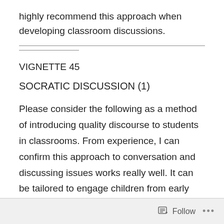highly recommend this approach when developing classroom discussions.
VIGNETTE 45
SOCRATIC DISCUSSION (1)
Please consider the following as a method of introducing quality discourse to students in classrooms. From experience, I can confirm this approach to conversation and discussing issues works really well. It can be tailored to engage children from early childhood through to upper secondary. it is a method that also works well with adults.
Follow •••